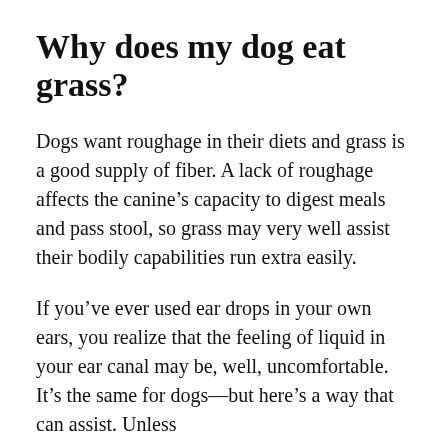Why does my dog eat grass?
Dogs want roughage in their diets and grass is a good supply of fiber. A lack of roughage affects the canine’s capacity to digest meals and pass stool, so grass may very well assist their bodily capabilities run extra easily.
If you’ve ever used ear drops in your own ears, you realize that the feeling of liquid in your ear canal may be, well, uncomfortable. It’s the same for dogs—but here’s a way that can assist. Unless